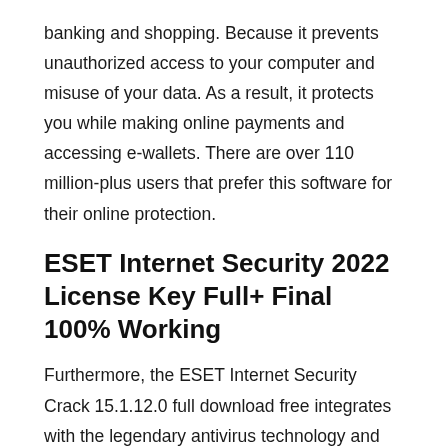banking and shopping. Because it prevents unauthorized access to your computer and misuse of your data. As a result, it protects you while making online payments and accessing e-wallets. There are over 110 million-plus users that prefer this software for their online protection.
ESET Internet Security 2022 License Key Full+ Final 100% Working
Furthermore, the ESET Internet Security Crack 15.1.12.0 full download free integrates with the legendary antivirus technology and protects you against ransomware and other types of malware. Also, it comes with the ability to block phishing sites. Moreover, Eset Internet Security torrent provides a multi-layered internet security tool